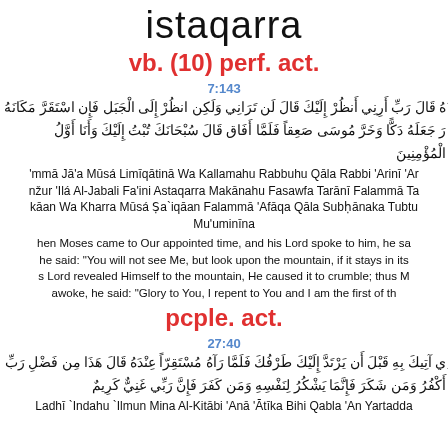istaqarra
vb. (10) perf. act.
7:143
قَالَ رَبِّ أَرِنِي أَنظُرْ إِلَيْكَ قَالَ لَن تَرَانِي وَلَكِن انظُرْ إِلَى الْجَبَل فَإِن اسْتَقَرَّ مَكَانَهُ جَعَلَهُ دَكًّا وَخَرَّ مُوسَى صَعِقاً فَلَمَّا أَفَاق قَالَ سُبْحَانَكَ تُبْتُ إِلَيْكَ وَأَنَا أَوَّلُ الْمُؤْمِنِينَ
'mmā Jā'a Mūsá Limīqātinā Wa Kallamahu Rabbuhu Qāla Rabbi 'Arinī 'Anžur 'Ilá Al-Jabali Fa'ini Astaqarra Makānahu Fasawfa Tarānī Falammā Takāan Wa Kharra Mūsá Ṣa`iqāan Falammā 'Afāqa Qāla Subḥānaka Tubtu Mu'uminīna
hen Moses came to Our appointed time, and his Lord spoke to him, he sa he said: "You will not see Me, but look upon the mountain, if it stays in its s Lord revealed Himself to the mountain, He caused it to crumble; thus M awoke, he said: "Glory to You, I repent to You and I am the first of th
pcple. act.
27:40
آتِيكَ بِهِ قَبْلَ أَن يَرْتَدَّ إِلَيْكَ طَرْفُكَ فَلَمَّا رَآهُ مُسْتَقِرّاً عِنْدَهُ قَالَ هَذَا مِن فَضْلِ رَبِّي أَكْفُرُ وَمَن شَكَرَ فَإِنَّمَا يَشْكُرُ لِنَفْسِهِ وَمَن كَفَرَ فَإِنَّ رَبِّي غَنِيٌّ كَرِيمٌ
Ladhī `Indahu `Ilmun Mina Al-Kitābi 'Anā 'Ātīka Bihi Qabla 'An Yartadda